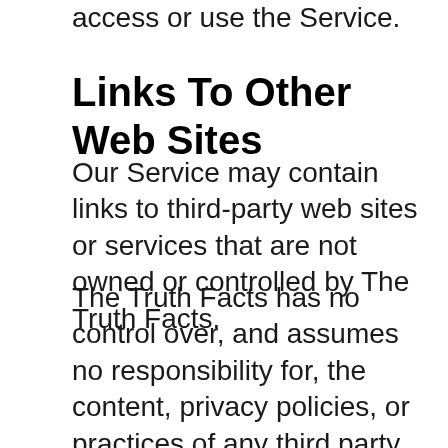access or use the Service.
Links To Other Web Sites
Our Service may contain links to third-party web sites or services that are not owned or controlled by The Truth Facts.
The Truth Facts has no control over, and assumes no responsibility for, the content, privacy policies, or practices of any third party web sites or services. You further acknowledge and agree that The Truth Facts shall not be responsible or liable, directly or indirectly, for any damage or loss caused or alleged to be caused by or in connection with use of or reliance on any such content, goods or services available on or through